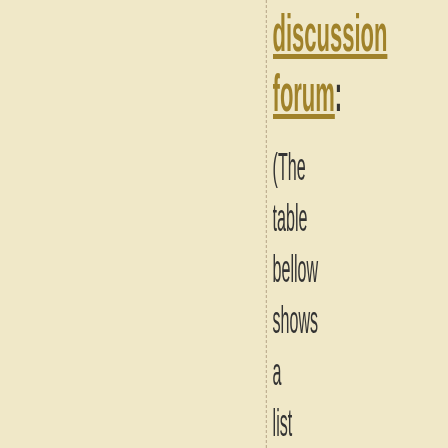discussion forum:
(The table bellow shows a list of 8 most recent topics posted in our discussion forum. Visit our discussion forum to see more. It is possible the links below